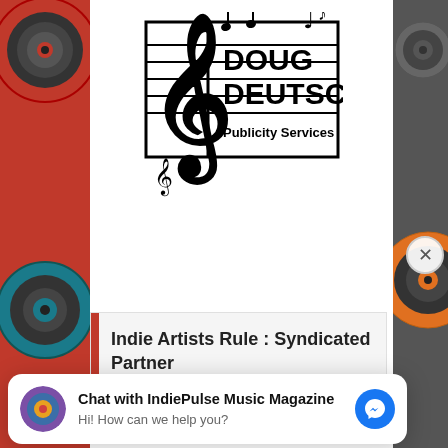[Figure (logo): Doug Deutsch Publicity Services logo with treble clef and music notes on staff lines]
Indie Artists Rule : Syndicated Partner
[Figure (photo): Pink background image strip with partial figure visible]
[Figure (screenshot): Chat widget: Chat with IndiePulse Music Magazine. Hi! How can we help you? With Facebook Messenger button.]